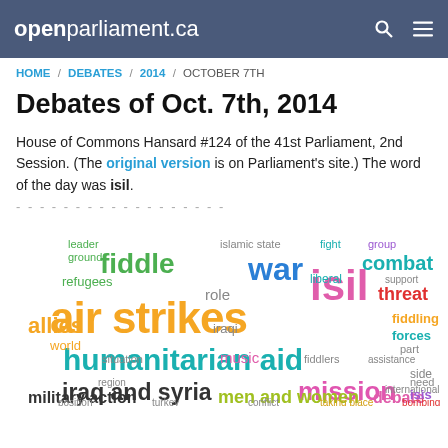openparliament.ca
HOME / DEBATES / 2014 / OCTOBER 7TH
Debates of Oct. 7th, 2014
House of Commons Hansard #124 of the 41st Parliament, 2nd Session. (The original version is on Parliament's site.) The word of the day was isil.
[Figure (infographic): Word cloud of debate topics including: air strikes (largest, orange), humanitarian aid (large, teal), isil (large, pink/magenta), iraq and syria (large, dark), mission (large, magenta), war (large, blue), fiddle (large, green), combat (large, teal), men and women (medium, yellow-green), military action (medium, dark), debate (medium, pink), allies (medium, orange), threat (medium, red), fiddling (medium, orange), forces (medium, teal), and many smaller words.]